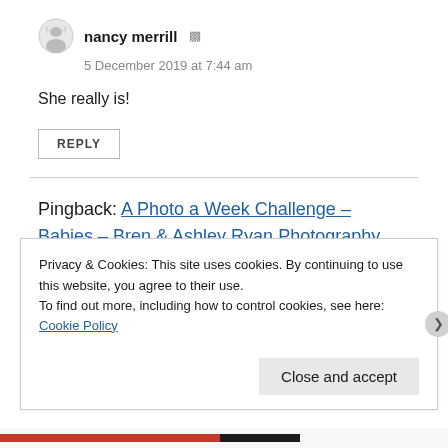[Figure (illustration): Small circular avatar/logo for nancy merrill]
nancy merrill
5 December 2019 at 7:44 am
She really is!
REPLY
Pingback: A Photo a Week Challenge – Babies – Bren & Ashley Ryan Photography
Privacy & Cookies: This site uses cookies. By continuing to use this website, you agree to their use.
To find out more, including how to control cookies, see here: Cookie Policy
Close and accept